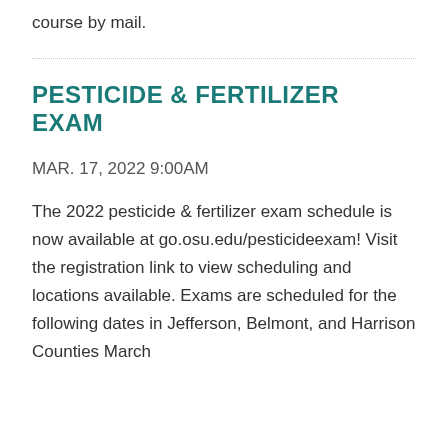course by mail.
PESTICIDE & FERTILIZER EXAM
MAR. 17, 2022 9:00AM
The 2022 pesticide & fertilizer exam schedule is now available at go.osu.edu/pesticideexam! Visit the registration link to view scheduling and locations available. Exams are scheduled for the following dates in Jefferson, Belmont, and Harrison Counties March